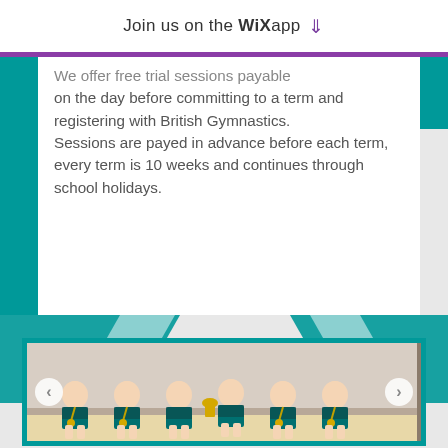Join us on the WiX app ↓
We offer free trial sessions payable on the day before committing to a term and registering with British Gymnastics. Sessions are payed in advance before each term, every term is 10 weeks and continues through school holidays.
[Figure (photo): Group photo of six young female gymnasts wearing teal and white leotards with medals, sitting together and holding a trophy. Photo displayed in a carousel with left and right navigation arrows.]